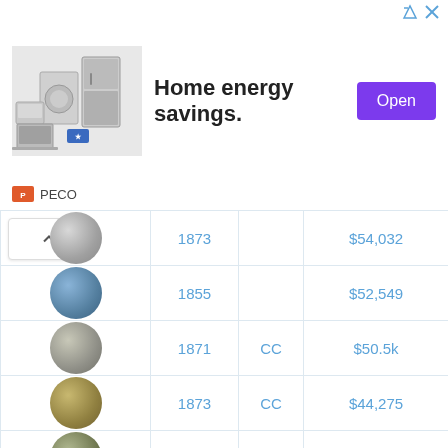[Figure (infographic): Advertisement banner for Home energy savings by PECO, showing home appliances and an Energy Star logo, with an 'Open' button.]
| Image | Year | Mint | Price |
| --- | --- | --- | --- |
| [coin] | 1873 |  | $54,032 |
| [coin] | 1855 |  | $52,549 |
| [coin] | 1871 | CC | $50.5k |
| [coin] | 1873 | CC | $44,275 |
| [coin] | 1842 | O | $40,577 |
| [coin] | 1855 | S | $24,633 |
| [coin] | 1874 | CC | $23,513 |